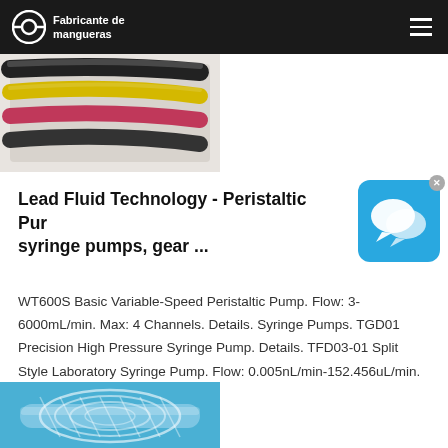Fabricante de mangueras
[Figure (photo): Multiple colored heat-shrink tubes/hoses on a white background]
Lead Fluid Technology - Peristaltic Pumps, syringe pumps, gear ...
[Figure (screenshot): Chat/messaging app popup icon on blue background with X close button]
WT600S Basic Variable-Speed Peristaltic Pump. Flow: 3-6000mL/min. Max: 4 Channels. Details. Syringe Pumps. TGD01 Precision High Pressure Syringe Pump. Details. TFD03-01 Split Style Laboratory Syringe Pump. Flow: 0.005nL/min-152.456uL/min.
[Figure (photo): Spiral-reinforced transparent flexible hose on blue background]